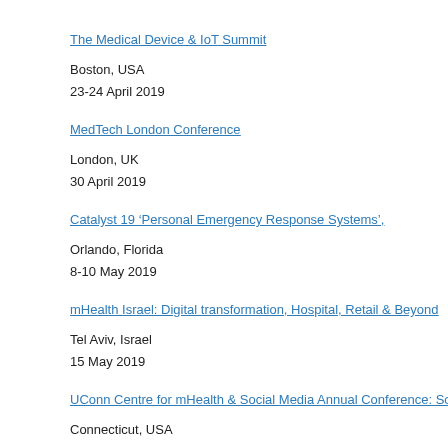The Medical Device & IoT Summit
Boston, USA
23-24 April 2019
MedTech London Conference
London, UK
30 April 2019
Catalyst 19 'Personal Emergency Response Systems',
Orlando, Florida
8-10 May 2019
mHealth Israel: Digital transformation, Hospital, Retail & Beyond
Tel Aviv, Israel
15 May 2019
UConn Centre for mHealth & Social Media Annual Conference: Social Media & Heal
Connecticut, USA